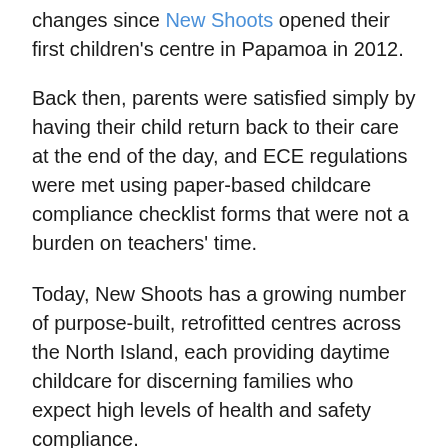changes since New Shoots opened their first children's centre in Papamoa in 2012.
Back then, parents were satisfied simply by having their child return back to their care at the end of the day, and ECE regulations were met using paper-based childcare compliance checklist forms that were not a burden on teachers' time.
Today, New Shoots has a growing number of purpose-built, retrofitted centres across the North Island, each providing daytime childcare for discerning families who expect high levels of health and safety compliance.
“They know what they want, and they know that there are options and other centres out there,” says New Shoots co-founder Nikki Prendergast.